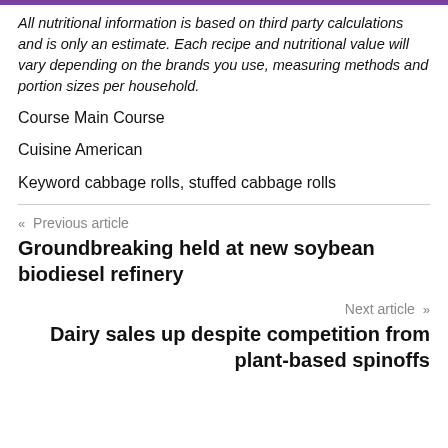All nutritional information is based on third party calculations and is only an estimate. Each recipe and nutritional value will vary depending on the brands you use, measuring methods and portion sizes per household.
Course Main Course
Cuisine American
Keyword cabbage rolls, stuffed cabbage rolls
« Previous article
Groundbreaking held at new soybean biodiesel refinery
Next article »
Dairy sales up despite competition from plant-based spinoffs